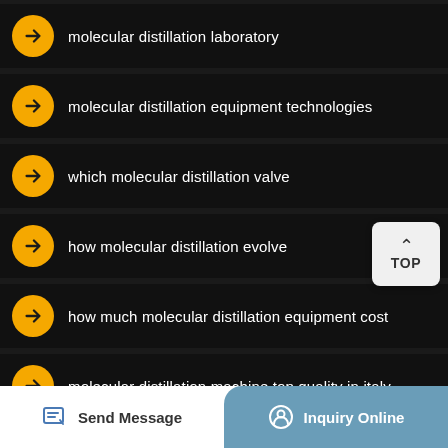molecular distillation laboratory
molecular distillation equipment technologies
which molecular distillation valve
how molecular distillation evolve
how much molecular distillation equipment cost
molecular distillation machine top quality in italy
Copyright © 2022 Laboratory Equipment Company All rights reserved. Sitemap
Send Message
Inquiry Online